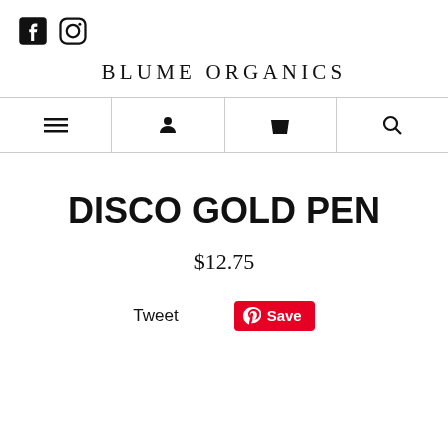Facebook and Instagram social icons
BLUME ORGANICS
[Figure (screenshot): Navigation bar with four icons: hamburger menu, user account, shopping bag, and search]
DISCO GOLD PEN
$12.75
Tweet   Save